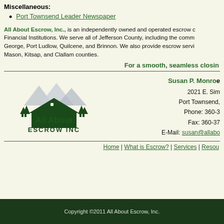Miscellaneous:
Port Townsend Leader Newspaper
All About Escrow, Inc., is an independently owned and operated escrow company, not affiliated with any Banks or Financial Institutions. We serve all of Jefferson County, including the communities of Port Townsend, Port Hadlock, Port George, Port Ludlow, Quilcene, and Brinnon. We also provide escrow services for portions of Jefferson, Mason, Kitsap, and Clallam counties.
For a smooth, seamless closing...
[Figure (logo): All About Escrow Inc logo with mountain and trees silhouette]
Susan P. Monroe
2021 E. Sim...
Port Townsend,
Phone: 360-3...
Fax: 360-37...
E-Mail: susan@allabo...
Home | What is Escrow? | Services | Resources... | Copyright ©2011 All About Escrow, Inc.